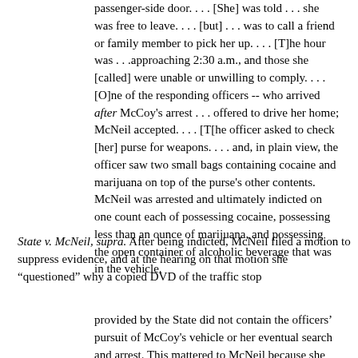passenger-side door. . . . [She] was told . . . she was free to leave. . . . [but] . . . was to call a friend or family member to pick her up. . . . [T]he hour was . . .approaching 2:30 a.m., and those she [called] were unable or unwilling to comply. . . . [O]ne of the responding officers -- who arrived after McCoy's arrest . . . offered to drive her home; McNeil accepted. . . . [T[he officer asked to check [her] purse for weapons. . . . and, in plain view, the officer saw two small bags containing cocaine and marijuana on top of the purse's other contents. McNeil was arrested and ultimately indicted on one count each of possessing cocaine, possessing less than an ounce of marijuana, and possessing the open container of alcoholic beverage that was in the vehicle.
State v. McNeil, supra. After being indicted, McNeil filed a motion to suppress evidence, and at the hearing on that motion she “questioned” why a copied DVD of the traffic stop
provided by the State did not contain the officers’ pursuit of McCoy's vehicle or her eventual search and arrest. This mattered to McNeil because she